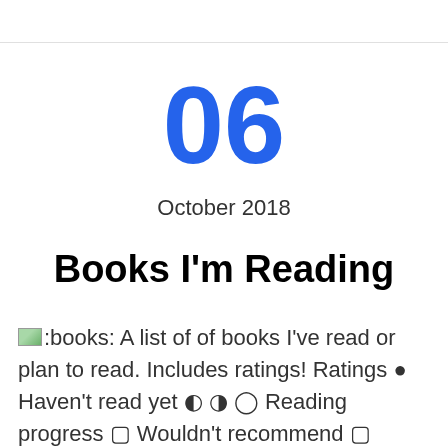06
October 2018
Books I'm Reading
📚:books: A list of of books I've read or plan to read. Includes ratings! Ratings ● Haven't read yet ◐ ◑ ◯ Reading progress 🔲 Wouldn't recommend 🔲 Finished reading, liked it 🔲 I want it to teach someone and Self-